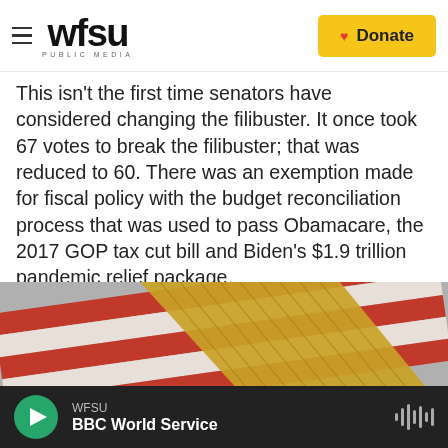wfsu PUBLIC MEDIA | Donate
This isn't the first time senators have considered changing the filibuster. It once took 67 votes to break the filibuster; that was reduced to 60. There was an exemption made for fiscal policy with the budget reconciliation process that was used to pass Obamacare, the 2017 GOP tax cut bill and Biden's $1.9 trillion pandemic relief package.
[Figure (photo): Close-up photo of an American flag with red, white stripes and gold fringe, with two partially visible figures at the bottom]
WFSU | BBC World Service